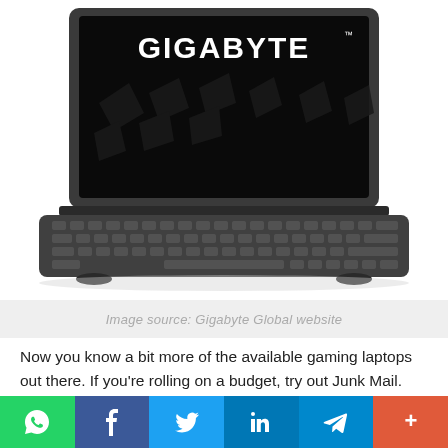[Figure (photo): Gigabyte gaming laptop with black screen showing GIGABYTE logo in white text, keyboard visible, dark grey chassis]
Image source: Gigabyte Global website
Now you know a bit more of the available gaming laptops out there. If you're rolling on a budget, try out Junk Mail. We have a number of gaming laptops for sale advertised on our site that will suit your needs.